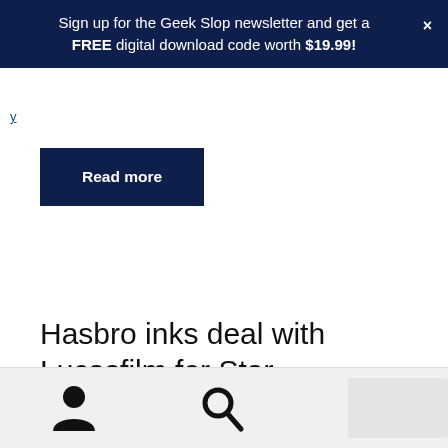Sign up for the Geek Slop newsletter and get a FREE digital download code worth $19.99!
y
Read more
Hasbro inks deal with Lucasfilm for Star
Geeks gotta be in the know. Sign up for the Geek Slop newsletter and get a FREE digital download code worth $19.99!
Dismiss
[user icon] [search icon] [cart icon with badge 0]